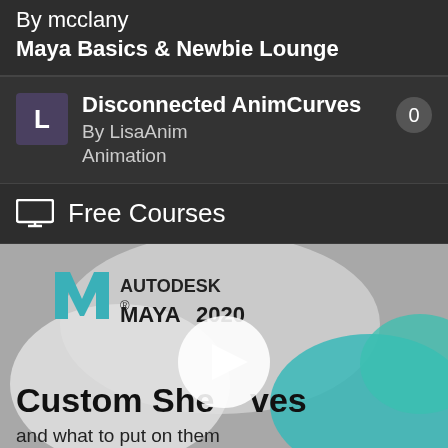By mcclany
Maya Basics & Newbie Lounge
Disconnected AnimCurves
By LisaAnim
Animation
Free Courses
[Figure (screenshot): Autodesk Maya 2020 course thumbnail showing Custom Shelves title with play button overlay, teal and white abstract shapes in background]